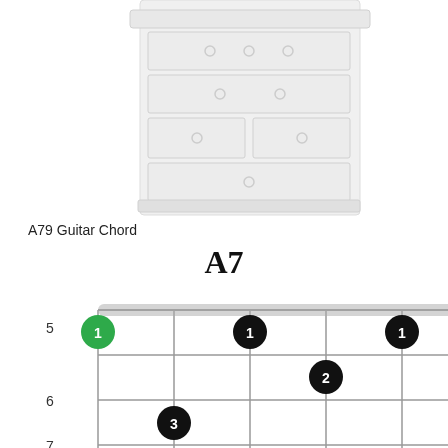[Figure (illustration): White/light gray dresser or chest of drawers illustration, partially visible at top of page]
A79 Guitar Chord
A7
[Figure (other): Guitar chord diagram for A7 chord. Shows a 6-string guitar fretboard from frets 5-8. Barre at fret 5 with finger 1 (green circle on low E, black circles on D, B, E strings). Finger 2 on G string fret 6. Finger 3 on A string fret 7. String labels at bottom: E, A, D, G, B, E. Interval labels: 1, 5, b7, 3, 5, 1.]
A7 Guitar
A7
[Figure (other): Bottom of another guitar chord diagram showing X O markers, partially visible]